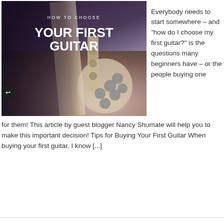[Figure (photo): Photo of a woman holding a guitar with overlay text reading HOW TO CHOOSE YOUR FIRST GUITAR]
Everybody needs to start somewhere – and "how do I choose my first guitar?" is the questions many beginners have – or the people buying one for them! This article by guest blogger Nancy Shumate will help you to make this important decision! Tips for Buying Your First Guitar When buying your first guitar, I know [...]
Read More »